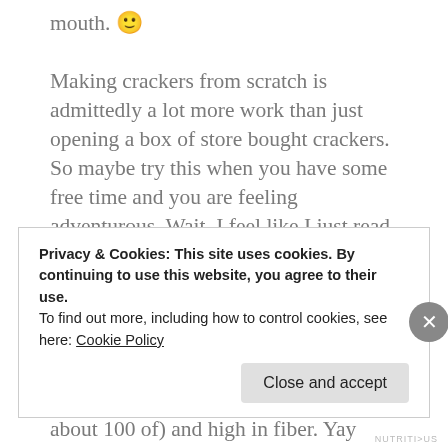mouth. 🙂

Making crackers from scratch is admittedly a lot more work than just opening a box of store bought crackers. So maybe try this when you have some free time and you are feeling adventurous. Wait, I feel like I just read your mind and in your mind you just thought, "that's never happening". Fair enough. Well, just in case you change your mind here is the recipe anyway. These crackers are very filling (as opposed to tortilla chips which I can eat about 100 of) and high in fiber. Yay fiber! Taken from Thrive by Brenden Brazier. A book I highly recommend to any athlete.
Privacy & Cookies: This site uses cookies. By continuing to use this website, you agree to their use.
To find out more, including how to control cookies, see here: Cookie Policy